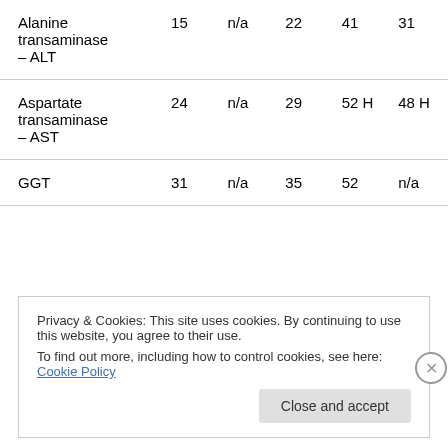| Alanine transaminase – ALT | 15 | n/a | 22 | 41 | 31 |
| Aspartate transaminase – AST | 24 | n/a | 29 | 52 H | 48 H |
| GGT | 31 | n/a | 35 | 52 | n/a |
Privacy & Cookies: This site uses cookies. By continuing to use this website, you agree to their use.
To find out more, including how to control cookies, see here: Cookie Policy